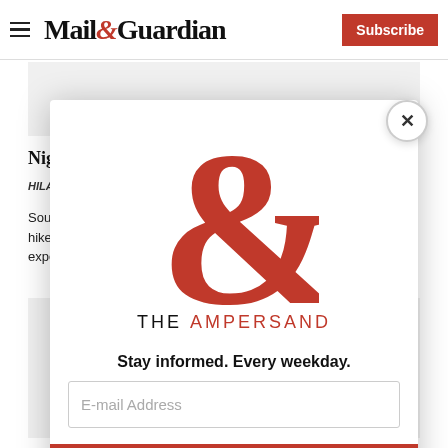Mail&Guardian | Subscribe
[Figure (other): Gray advertisement banner placeholder]
Nigeria seen helping MTN lift H1 EPS 40%
HILARY...
South... hike... expe...
[Figure (other): Gray content placeholder box]
[Figure (illustration): Modal popup with The Ampersand newsletter signup. Shows large red ampersand logo with 'THE AMPERSAND' text, tagline 'Stay informed. Every weekday.', email address input field, and 'Signup now' button in red. Close button (X) in top right corner.]